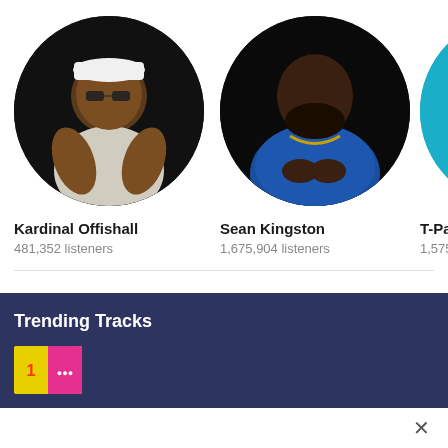[Figure (photo): Circular avatar photo of Kardinal Offishall wearing white cap and sunglasses]
Kardinal Offishall
481,352 listeners
[Figure (photo): Circular avatar photo of Sean Kingston in blue plaid jacket]
Sean Kingston
1,675,904 listeners
[Figure (photo): Partially visible circular avatar of T-Pa (T-Pain) in teal/cyan color]
T-Pa
1,575
View all similar artists
Trending Tracks